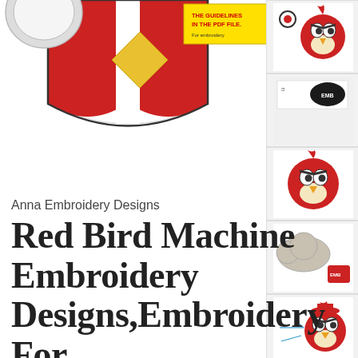[Figure (illustration): Partial view of an embroidery design showing a shield/crest shape with red and white sections and a yellow diamond center, plus a yellow PDF guidelines label, on white background]
[Figure (illustration): Thumbnail of Angry Bird red bird character head with black outline, top-right sidebar item 1]
[Figure (illustration): Thumbnail of a dark oval/ellipse design logo, sidebar item 2]
[Figure (illustration): Thumbnail of Angry Bird red bird character, larger view, sidebar item 3]
[Figure (illustration): Thumbnail of a gray speech bubble / cloud shape with small red logo, sidebar item 4]
[Figure (illustration): Thumbnail of Angry Bird red bird with annotations/arrows, sidebar item 5]
Anna Embroidery Designs
Red Bird Machine Embroidery Designs,Embroidery For